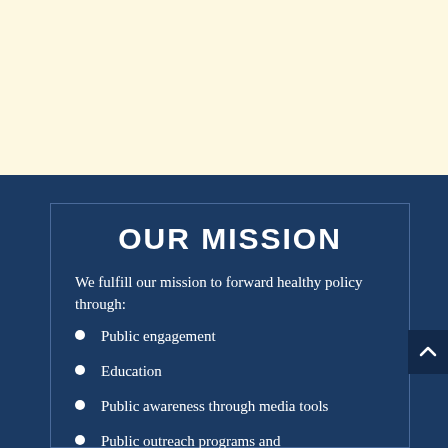OUR MISSION
We fulfill our mission to forward healthy policy through:
Public engagement
Education
Public awareness through media tools
Public outreach programs and